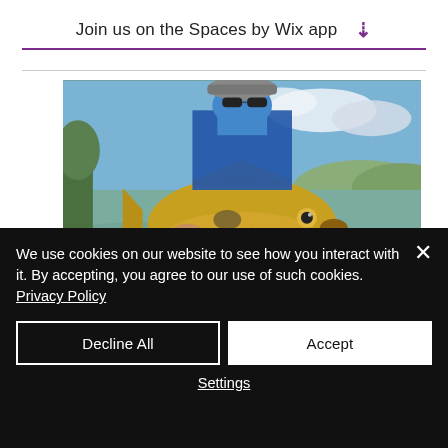Join us on the Spaces by Wix app ↓
[Figure (photo): A person wearing a face mask/balaclava and cap holding a large golden-yellow peacock bass fish near a lake with green vegetation in the background.]
We use cookies on our website to see how you interact with it. By accepting, you agree to our use of such cookies. Privacy Policy
Decline All
Accept
Settings